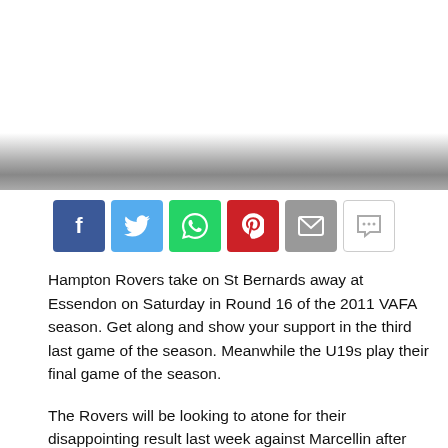[Figure (photo): Large image area at the top of the page, mostly white/blank with a dark gradient bar at the bottom edge.]
[Figure (infographic): Social media share buttons row: Facebook (dark blue, f), Twitter (light blue, bird), WhatsApp (green, phone), Pinterest (red, p), Email (grey, envelope), Comment (white/grey, speech bubble).]
Hampton Rovers take on St Bernards away at Essendon on Saturday in Round 16 of the 2011 VAFA season. Get along and show your support in the third last game of the season. Meanwhile the U19s play their final game of the season.
The Rovers will be looking to atone for their disappointing result last week against Marcellin after several weeks of improved performances. Last time the two teams met at